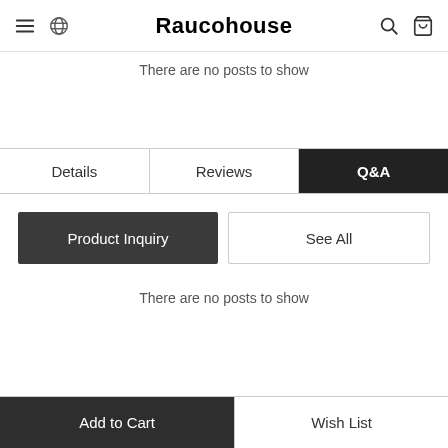Raucohouse
There are no posts to show
Details | Reviews | Q&A
Product Inquiry | See All
There are no posts to show
Add to Cart | Wish List